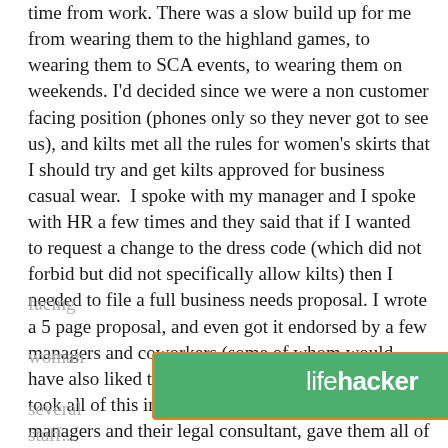time from work. There was a slow build up for me from wearing them to the highland games, to wearing them to SCA events, to wearing them on weekends. I'd decided since we were a non customer facing position (phones only so they never got to see us), and kilts met all the rules for women's skirts that I should try and get kilts approved for business casual wear.  I spoke with my manager and I spoke with HR a few times and they said that if I wanted to request a change to the dress code (which did not forbid but did not specifically allow kilts) then I needed to file a full business needs proposal. I wrote a 5 page proposal, and even got it endorsed by a few managers and coworkers (some of whom would have also liked the option to wear kilts to work). I took all of this into HR and sat down with one of the managers and their legal consultant, gave them all of the reasoning. Which included but wasn't limited to our non customer facing [ad banner] woman [...] several staff...
[Figure (other): Lifehacker advertisement banner with green background, 'lifehacker' logo on left and 'FOLLOW US ON TWITTER' button on right with diagonal striped decoration.]